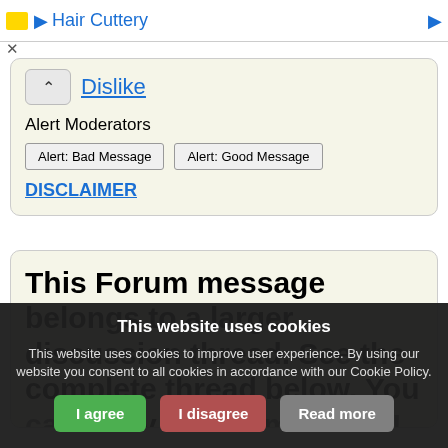Hair Cuttery
Dislike
Alert Moderators
Alert: Bad Message | Alert: Good Message
DISCLAIMER
This Forum message belongs to a larger discussion thread. See the complete thread below. You can reply to this message!
This website uses cookies
This website uses cookies to improve user experience. By using our website you consent to all cookies in accordance with our Cookie Policy.
I agree | I disagree | Read more